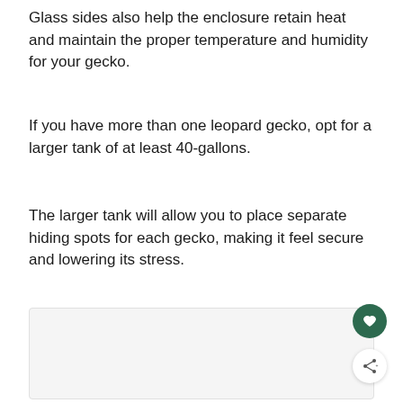Glass sides also help the enclosure retain heat and maintain the proper temperature and humidity for your gecko.
If you have more than one leopard gecko, opt for a larger tank of at least 40-gallons.
The larger tank will allow you to place separate hiding spots for each gecko, making it feel secure and lowering its stress.
[Figure (other): Light gray rectangular image placeholder area at the bottom of the page with a dark green heart/favorite button and a white share button overlaid on the right side.]